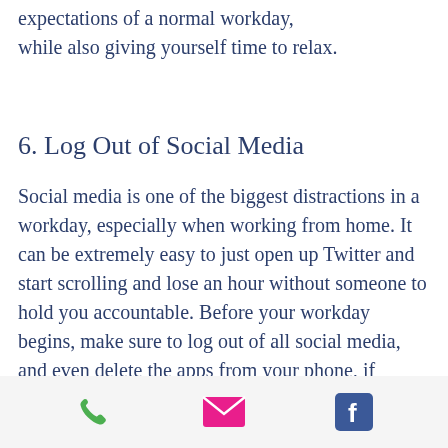expectations of a normal workday, while also giving yourself time to relax.
6. Log Out of Social Media
Social media is one of the biggest distractions in a workday, especially when working from home. It can be extremely easy to just open up Twitter and start scrolling and lose an hour without someone to hold you accountable. Before your workday begins, make sure to log out of all social media, and even delete the apps from your phone, if possible. Eliminating that distraction from the start will boost your productivity.
[Figure (infographic): Footer bar with three icons: green phone icon, pink/red email envelope icon, blue Facebook icon]